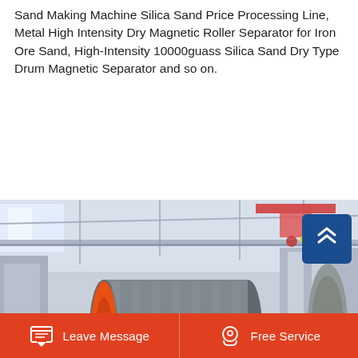Sand Making Machine Silica Sand Price Processing Line, Metal High Intensity Dry Magnetic Roller Separator for Iron Ore Sand, High-Intensity 10000guass Silica Sand Dry Type Drum Magnetic Separator and so on.
Learn More
[Figure (photo): Industrial drum magnetic separator on an orange metal frame inside a large factory/warehouse, with overhead cranes and industrial equipment visible in the background.]
Leave Message   Free Service